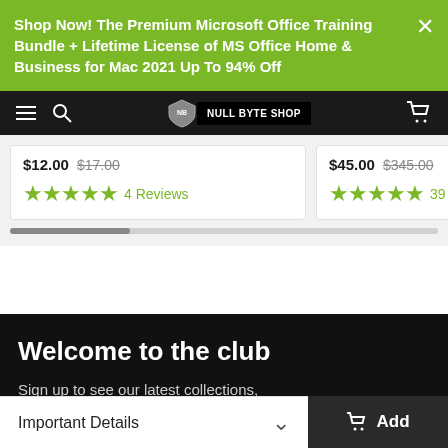Shop Now! The Premium Microsoft Office Training Bundle + Lifetime License of MS Office Home & Business for Mac 2021 Up To 94% Off
[Figure (screenshot): Navigation bar with hamburger menu, search icon, Null Byte Shop logo, and cart icon on dark background]
$12.00 $17.00 ★★★★★ 4 Reviews
$45.00 $345.00 ★★★★★ 39 Reviews
Welcome to the club
Sign up to see our latest collections, exclusive offers & get 10% Off
Important Details
Add